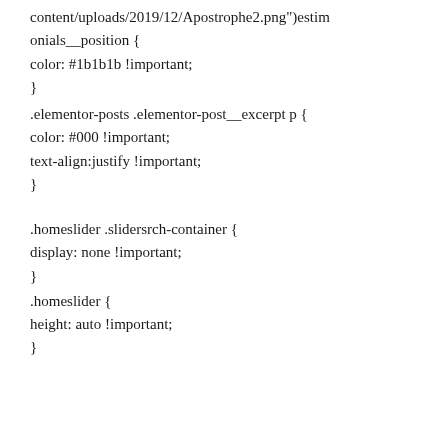content/uploads/2019/12/Apostrophe2.png")estimonials__position {
color: #1b1b1b !important;
}
.elementor-posts .elementor-post__excerpt p {
color: #000 !important;
text-align:justify !important;
}
.homeslider .slidersrch-container {
display: none !important;
}
.homeslider {
height: auto !important;
}